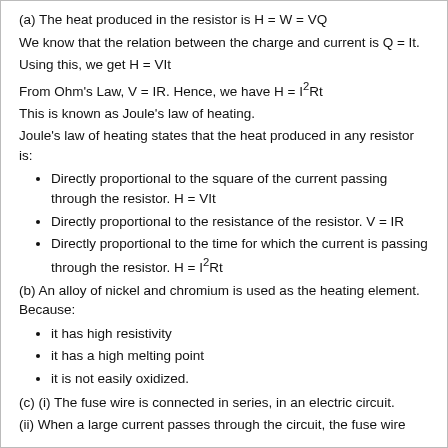(a) The heat produced in the resistor is H = W = VQ
We know that the relation between the charge and current is Q = It.
Using this, we get H = VIt
From Ohm's Law, V = IR. Hence, we have H = I²Rt
This is known as Joule's law of heating.
Joule's law of heating states that the heat produced in any resistor is:
Directly proportional to the square of the current passing through the resistor. H = VIt
Directly proportional to the resistance of the resistor. V = IR
Directly proportional to the time for which the current is passing through the resistor. H = I²Rt
(b) An alloy of nickel and chromium is used as the heating element. Because:
it has high resistivity
it has a high melting point
it is not easily oxidized.
(c) (i) The fuse wire is connected in series, in an electric circuit.
(ii) When a large current passes through the circuit, the fuse wire